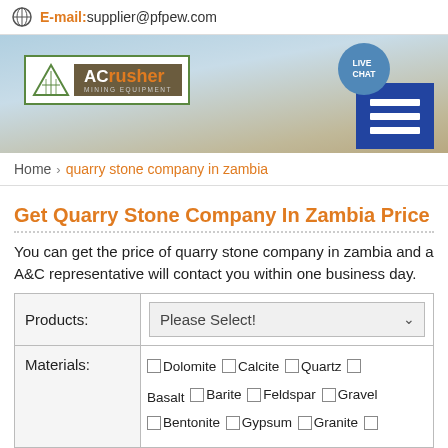E-mail:supplier@pfpew.com
[Figure (screenshot): ACrusher Mining Equipment company banner with logo on left showing green triangle logo and brown text box with ACrusher in white/orange text and MINING EQUIPMENT subtitle. Right side shows blue Live Chat button area with hamburger menu icon.]
Home > quarry stone company in zambia
Get Quarry Stone Company In Zambia Price
You can get the price of quarry stone company in zambia and a A&C representative will contact you within one business day.
| Products: | Please Select! |
| --- | --- |
| Materials: | Dolomite  Calcite  Quartz  Basalt  Barite  Feldspar  Gravel  Bentonite  Gypsum  Granite |